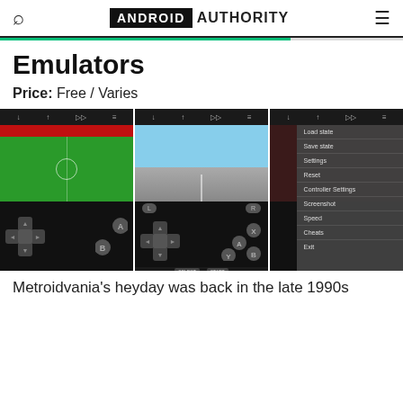Android Authority
Emulators
Price: Free / Varies
[Figure (screenshot): Three emulator app screenshots showing a soccer game, a racing game, and a settings menu overlay with options: Load state, Save state, Settings, Reset, Controller Settings, Screenshot, Speed, Cheats, Exit]
Metroidvania's heyday was back in the late 1990s